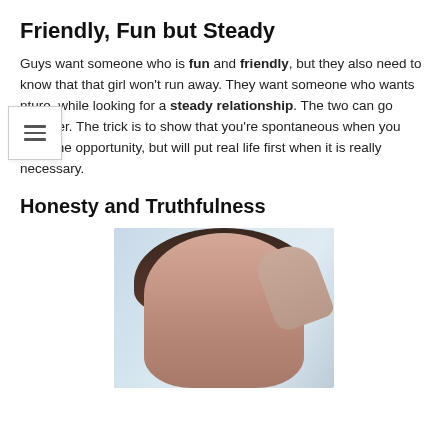Friendly, Fun but Steady
Guys want someone who is fun and friendly, but they also need to know that that girl won't run away. They want someone who wants nture, while looking for a steady relationship. The two can go together. The trick is to show that you're spontaneous when you have the opportunity, but will put real life first when it is really necessary.
Honesty and Truthfulness
[Figure (photo): A young woman with long brown hair smiling, with a hand reaching toward her hair, blurred background with shelves]